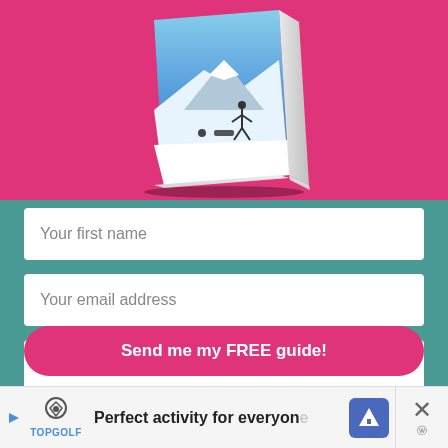[Figure (illustration): A 3D book illustration on a hot-pink background. The book cover shows a winter mountain scene with a person skiing, and text reading 'ESCAPE WITH OTTSWORLD.COM']
Your first name
Your email address
Country
Send me my FREE guide!
Perfect activity for everyone
Topgolf